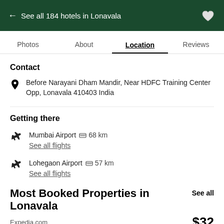← See all 184 hotels in Lonavala
Photos   About   Location   Reviews
Contact
Before Narayani Dham Mandir, Near HDFC Training Center Opp, Lonavala 410403 India
Getting there
Mumbai Airport  68 km
See all flights
Lohegaon Airport  57 km
See all flights
Most Booked Properties in Lonavala
See all
Expedia.com
$32
View deal